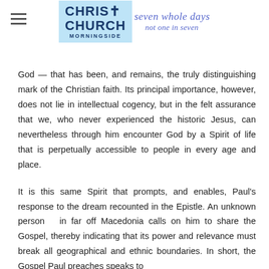Christ Church Morningside — seven whole days not one in seven
God — that has been, and remains, the truly distinguishing mark of the Christian faith. Its principal importance, however, does not lie in intellectual cogency, but in the felt assurance that we, who never experienced the historic Jesus, can nevertheless through him encounter God by a Spirit of life that is perpetually accessible to people in every age and place.
It is this same Spirit that prompts, and enables, Paul's response to the dream recounted in the Epistle. An unknown person  in far off Macedonia calls on him to share the Gospel, thereby indicating that its power and relevance must break all geographical and ethnic boundaries. In short, the Gospel Paul preaches speaks to